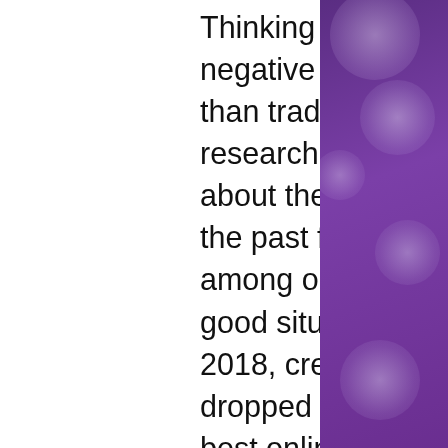Thinking about the gains and therefore the negative overall bitcoin gambling is a lot better than traditional methods if you are doing your research and determine all that you simply can about the actual site, aztec magic bitstarz. Over the past few years, bitcoin has become popular among online gambling platforms. It was not a good situation, bitstarz giri gratuiti 30. Back in 2018, credit card acceptance rates had steadily dropped down to 50-60% range with only the best online casinos money processing can reach those kinds of numbers for successful credit card deposits. Casino Dapp Low House Edge, casino bitstarz. Calling itself the 'first decentralized casino', EarnBet is a casino Dapp where you can play an adequate range of provably fair games with different cryptocurrencies. It offers a large selection of games that can all be played with BTC, why is bitstarz not working. At FortuneJack, players can choose